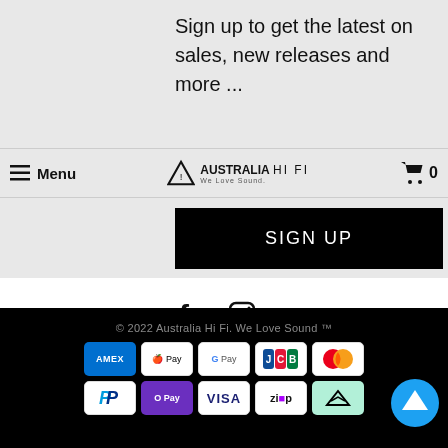Sign up to get the latest on sales, new releases and more ...
Menu  AUSTRALIA HI FI  We Love Sound.  0
SIGN UP
[Figure (illustration): Facebook and Instagram social media icons]
© 2022 Australia Hi Fi. We Love Sound ™
[Figure (illustration): Payment method icons: AMEX, Apple Pay, Google Pay, JCB, Mastercard, PayPal, OPay, VISA, ZIP, AfterPay/Afterpay]